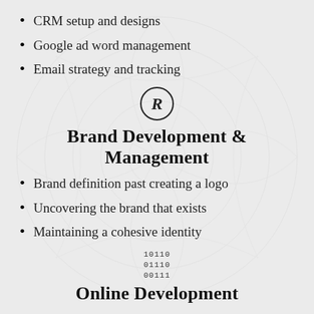CRM setup and designs
Google ad word management
Email strategy and tracking
[Figure (illustration): Registered trademark symbol (circled R)]
Brand Development & Management
Brand definition past creating a logo
Uncovering the brand that exists
Maintaining a cohesive identity
[Figure (illustration): Binary code icon: rows of 1s and 0s]
Online Development